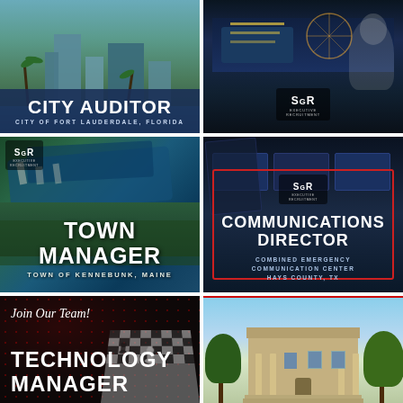[Figure (photo): City Auditor job posting for City of Fort Lauderdale, Florida. City skyline with palm trees and waterway background. White bold text on dark blue banner overlay.]
[Figure (photo): SGR Executive Recruitment ad with nighttime waterfront scene with lights and a rooster statue. SGR logo visible.]
[Figure (photo): Town Manager job posting for Town of Kennebunk, Maine. Aerial view of a waterway marina with boats and green landscape. White bold text overlay.]
[Figure (photo): Communications Director job posting for Combined Emergency Communication Center, Hays County, TX. Control room with monitors background. Text inside a red rectangular border. SGR logo visible.]
[Figure (photo): Technology Manager job posting with dark background with red polka dots and chess board/pieces image. 'Join Our Team!' in cursive white text.]
[Figure (photo): Government building photo showing a classic brick municipal building with columns, trees, and a red line at top.]